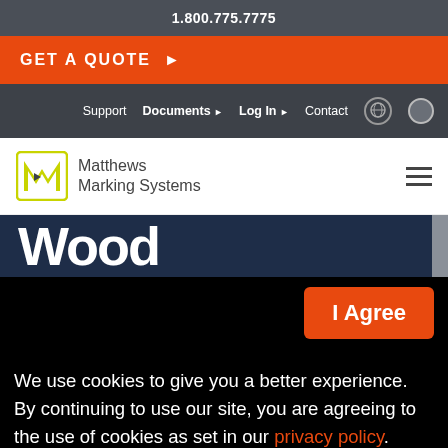1.800.775.7775
GET A QUOTE ▶
Support  Documents ▶  Log In ▶  Contact
[Figure (logo): Matthews Marking Systems logo with stylized M icon in green/yellow]
Wood
I Agree
We use cookies to give you a better experience. By continuing to use our site, you are agreeing to the use of cookies as set in our privacy policy.